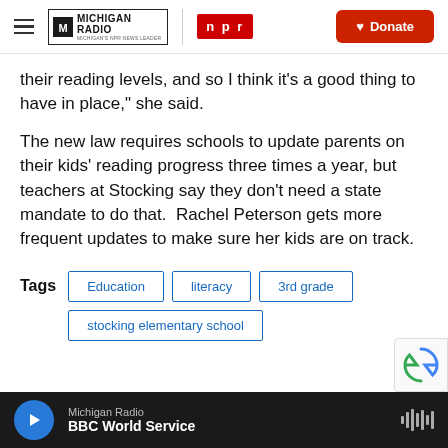Michigan Radio | NPR | Donate
their reading levels, and so I think it’s a good thing to have in place,” she said.
The new law requires schools to update parents on their kids’ reading progress three times a year, but teachers at Stocking say they don’t need a state mandate to do that.  Rachel Peterson gets more frequent updates to make sure her kids are on track.
Tags: Education | literacy | 3rd grade | stocking elementary school
Michigan Radio | BBC World Service